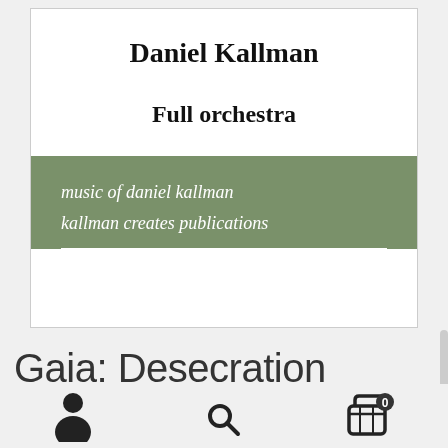Daniel Kallman
Full orchestra
music of daniel kallman
kallman creates publications
Gaia: Desecration